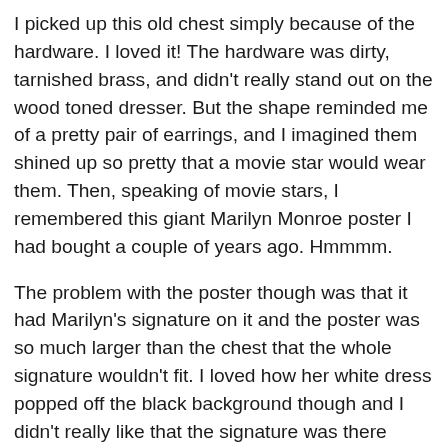I picked up this old chest simply because of the hardware.   I loved it!  The hardware was dirty, tarnished brass, and didn't really stand out on the wood toned dresser.  But the shape reminded me of a pretty pair of earrings, and I imagined them shined up so pretty that a movie star would wear them.  Then, speaking of movie stars, I remembered this giant Marilyn Monroe poster I had bought a couple of years ago.  Hmmmm.
The problem with the poster though was that it had Marilyn's signature on it and the poster was so much larger than the chest that the whole signature wouldn't fit.  I loved how her white dress popped off the black background though and I didn't really like that the signature was there anyway.  So, I got my scissors and cut out the largest paper doll in history!
So that Marilyn and her white dress would still pop, I